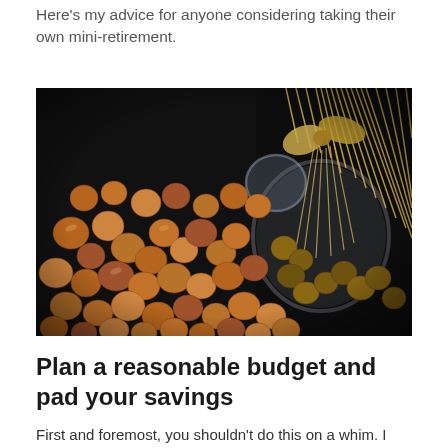Here's my advice for anyone considering taking their own mini-retirement.
[Figure (photo): A glass jar tipped on its side with a raffia/straw bow, spilling hundreds of copper pennies and coins across a dark surface. The coins fill most of the frame, photographed from above at a slight angle.]
Plan a reasonable budget and pad your savings
First and foremost, you shouldn't do this on a whim. I